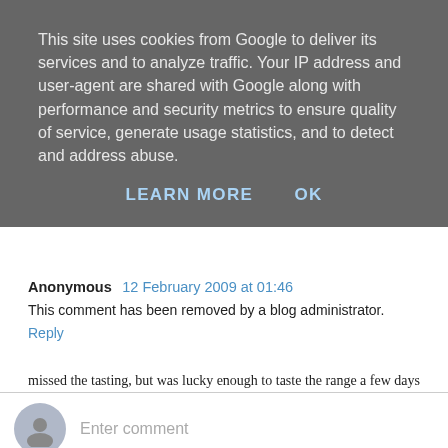This site uses cookies from Google to deliver its services and to analyze traffic. Your IP address and user-agent are shared with Google along with performance and security metrics to ensure quality of service, generate usage statistics, and to detect and address abuse.
LEARN MORE    OK
missed the tasting, but was lucky enough to taste the range a few days later. The Rake Raspberry was divine - I look forward to the bottled version next year!
Reply
Anonymous  12 February 2009 at 01:46
This comment has been removed by a blog administrator.
Reply
Enter comment